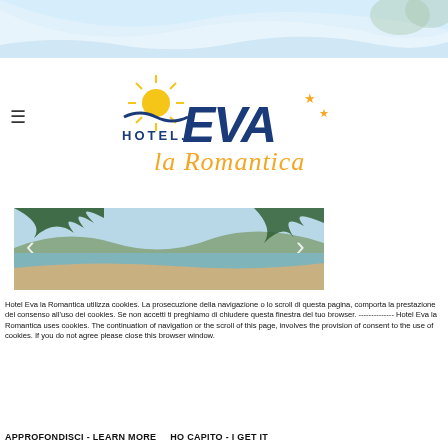[Figure (illustration): Top decorative background with light blue wave/sky pattern]
[Figure (logo): Hotel EVA la Romantica logo with sun graphic, blue and orange text, stars]
[Figure (photo): Coastal beach scene with green pine tree branches in foreground, beach and sea in background, with left and right navigation arrows]
Hotel Eva la Romantica utilizza cookies. La prosecuzione della navigazione o lo scroll di questa pagina, comporta la prestazione del consenso all'uso dei cookies. Se non accetti ti preghiamo di chiudere questa finestra del tuo browser. -------------- Hotel Eva la Romantica uses cookies. The continuation of navigation or the scroll of this page, involves the provision of consent to the use of cookies. If you do not agree please close this browser window.
APPROFONDISCI - LEARN MORE
HO CAPITO - I GET IT